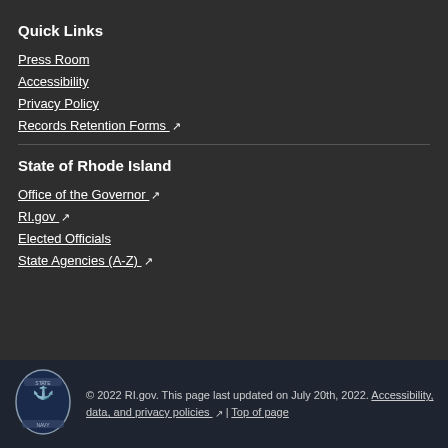Quick Links
Press Room
Accessibility
Privacy Policy
Records Retention Forms ↗
State of Rhode Island
Office of the Governor ↗
RI.gov ↗
Elected Officials
State Agencies (A-Z) ↗
© 2022 RI.gov. This page last updated on July 20th, 2022. Accessibility, data, and privacy policies ↗ | Top of page